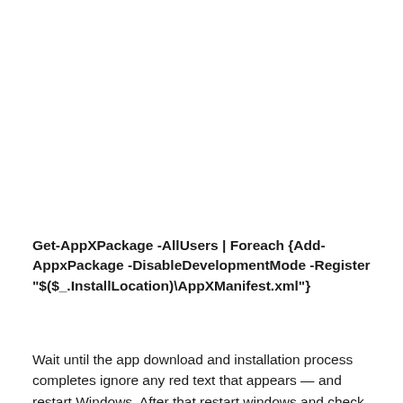Get-AppXPackage -AllUsers | Foreach {Add-AppxPackage -DisableDevelopmentMode -Register "$($_.InstallLocation)\AppXManifest.xml"}
Wait until the app download and installation process completes ignore any red text that appears — and restart Windows. After that restart windows and check windows 10 Start menu working properly.